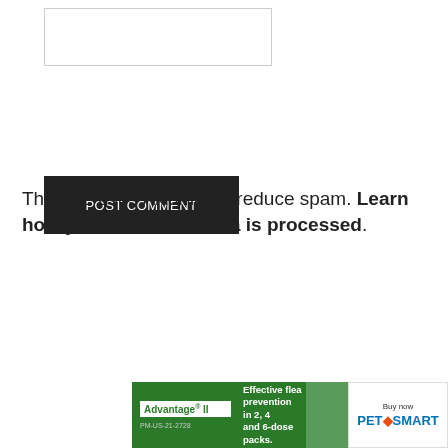[Figure (other): Text input/comment box - empty white rectangular input area with border]
[Figure (other): POST COMMENT button - dark/black rectangular button with white text]
This site uses Akismet to reduce spam. Learn how your comment data is processed.
[Figure (other): Search the site ... - search input box with placeholder text]
[Figure (other): X close button in bottom right]
[Figure (other): Advantage II flea prevention advertisement banner with PetSmart branding]